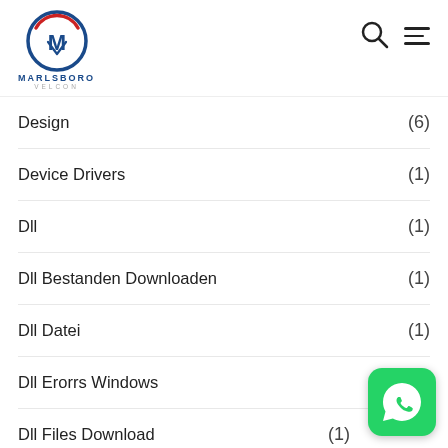[Figure (logo): Marlsboro Velcon logo with circular emblem containing M letter in red and blue]
Design (6)
Device Drivers (1)
Dll (1)
Dll Bestanden Downloaden (1)
Dll Datei (1)
Dll Erorrs Windows (1)
Dll Files Download (1)
Dll Lataus